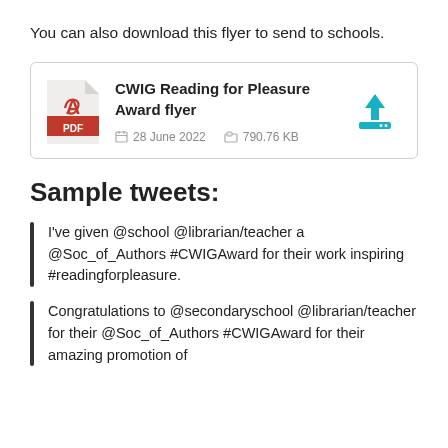You can also download this flyer to send to schools.
[Figure (other): File download card for 'CWIG Reading for Pleasure Award flyer' PDF, dated 28 June 2022, 790.76 KB, with PDF icon and download button.]
Sample tweets:
I've given @school @librarian/teacher a @Soc_of_Authors #CWIGAward for their work inspiring #readingforpleasure.
Congratulations to @secondaryschool @librarian/teacher for their @Soc_of_Authors #CWIGAward for their amazing promotion of